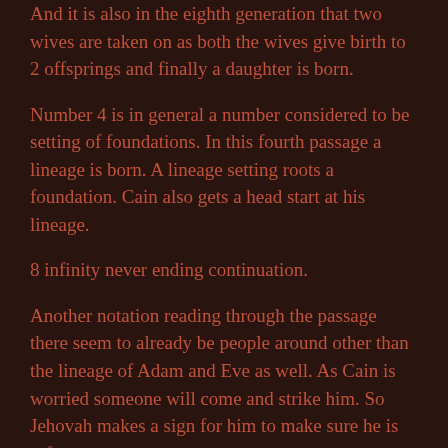And it is also in the eighth generation that two wives are taken on as both the wives give birth to 2 offsprings and finally a daughter is born.
Number 4 is in general a number considered to be setting of foundations. In this fourth passage a lineage is born. A lineage setting roots a foundation. Cain also gets a head start at his lineage.
8 infinity never ending continuation.
Another notation reading through the passage there seem to already be people around other than the lineage of Adam and Eve as well. As Cain is worried someone will come and strike him. So Jehovah makes a sign for him to make sure he is safe.